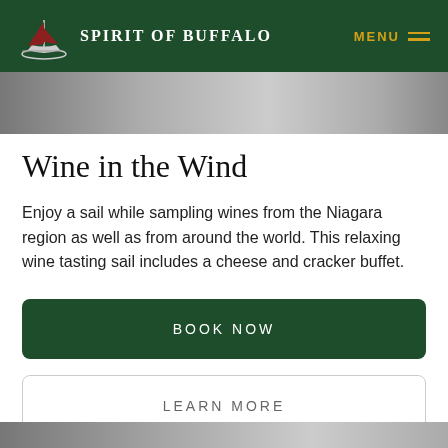Spirit of Buffalo  MENU
Wine in the Wind
Enjoy a sail while sampling wines from the Niagara region as well as from around the world. This relaxing wine tasting sail includes a cheese and cracker buffet.
BOOK NOW
LEARN MORE